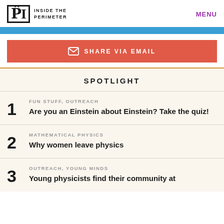INSIDE THE PERIMETER | MENU
SHARE VIA EMAIL
SPOTLIGHT
1 FUN STUFF, OUTREACH — Are you an Einstein about Einstein? Take the quiz!
2 MATHEMATICAL PHYSICS — Why women leave physics
3 OUTREACH, YOUNG MINDS — Young physicists find their community at